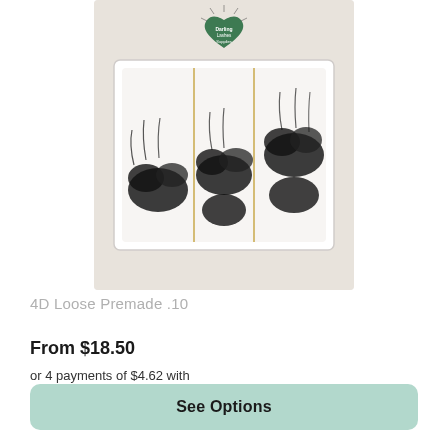[Figure (photo): Product photo of 4D Loose Premade .10 false eyelashes in a white tray with a green heart-shaped brand logo (Darling Lash Supplies). The tray contains clusters of fluffy black lash extensions arranged in rows.]
4D Loose Premade .10
From $18.50
or 4 payments of $4.62 with afterpay Info
See Options